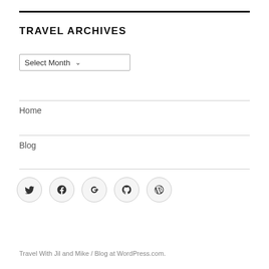TRAVEL ARCHIVES
Select Month
Home
Blog
[Figure (infographic): Row of five social media icon buttons (Twitter, Facebook, Google+, GitHub, WordPress) in circular outline style]
Travel With Jil and Mike  /  Blog at WordPress.com.